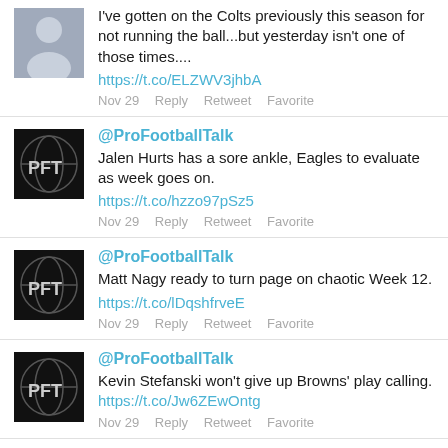I've gotten on the Colts previously this season for not running the ball...but yesterday isn't one of those times.... https://t.co/ELZWV3jhbA
Nov 29   Reply   Retweet   Favorite
@ProFootballTalk
Jalen Hurts has a sore ankle, Eagles to evaluate as week goes on. https://t.co/hzzo97pSz5
Nov 29   Reply   Retweet   Favorite
@ProFootballTalk
Matt Nagy ready to turn page on chaotic Week 12. https://t.co/lDqshfrveE
Nov 29   Reply   Retweet   Favorite
@ProFootballTalk
Kevin Stefanski won't give up Browns' play calling. https://t.co/Jw6ZEwOntg
Nov 29   Reply   Retweet   Favorite